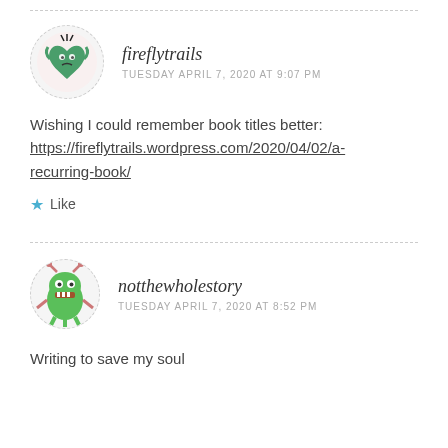fireflytrails
TUESDAY APRIL 7, 2020 AT 9:07 PM
Wishing I could remember book titles better: https://fireflytrails.wordpress.com/2020/04/02/a-recurring-book/
Like
notthewholestory
TUESDAY APRIL 7, 2020 AT 8:52 PM
Writing to save my soul